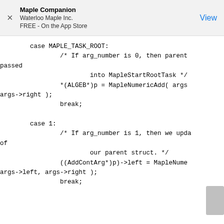Maple Companion
Waterloo Maple Inc.
FREE - On the App Store
View
case MAPLE_TASK_ROOT:
                /* If arg_number is 0, then parent
passed
                        into MapleStartRootTask */
                *(ALGEB*)p = MapleNumericAdd( args
args->right );
                break;

        case 1:
                /* If arg_number is 1, then we upda
of
                        our parent struct. */
                ((AddContArg*)p)->left = MapleNume
args->left, args->right );
                break;